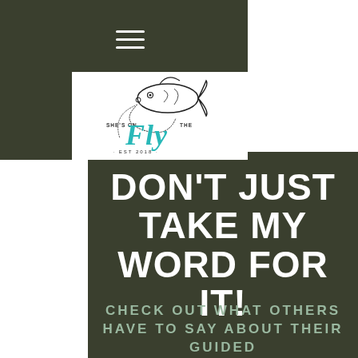[Figure (logo): She's On The Fly logo with a jumping fish and teal script text, EST 2018, on white background]
DON'T JUST TAKE MY WORD FOR IT!
CHECK OUT WHAT OTHERS HAVE TO SAY ABOUT THEIR GUIDED